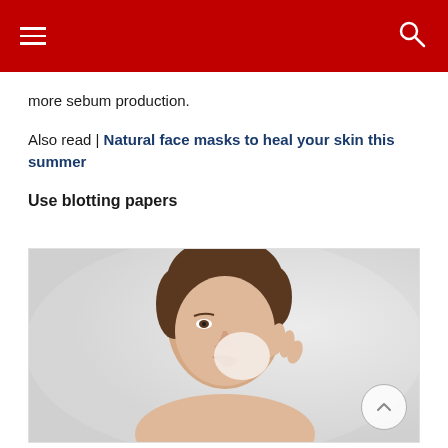more sebum production.
Also read | Natural face masks to heal your skin this summer
Use blotting papers
[Figure (photo): A woman with short brown hair pressing a blotting paper to her cheek with both hands, light background.]